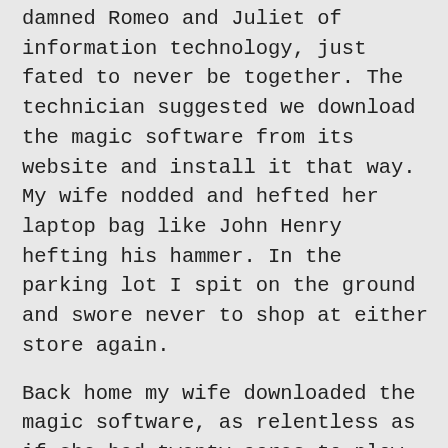damned Romeo and Juliet of information technology, just fated to never be together. The technician suggested we download the magic software from its website and install it that way. My wife nodded and hefted her laptop bag like John Henry hefting his hammer. In the parking lot I spit on the ground and swore never to shop at either store again.
Back home my wife downloaded the magic software, as relentless as if she had twenty acres to plow. I stomped around the room and bitched about having technology more complicated than a sharp stick. At 8:00 p.m. we started the transfer, which would take several hours. My wife sat on the couch to watch True Blood. I sat next to her with my own laptop and ignored True Blood.